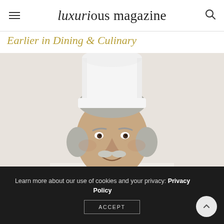luxurious magazine
Earlier in Dining & Culinary
[Figure (photo): Portrait photo of an elderly male chef wearing a white chef's hat (toque blanche) and white chef's jacket, smiling, with grey hair and a grey moustache, against a light background.]
Learn more about our use of cookies and your privacy: Privacy Policy